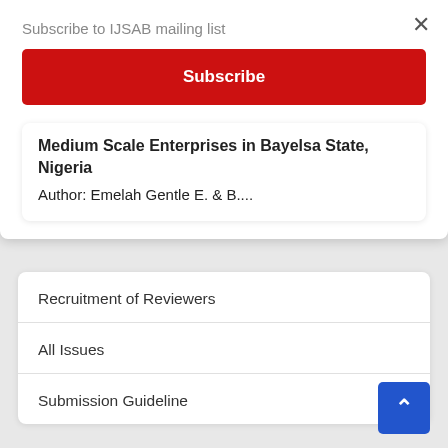Subscribe to IJSAB mailing list
Subscribe
Medium Scale Enterprises in Bayelsa State, Nigeria
Author:  Emelah Gentle E. & B....
Recruitment of Reviewers
All Issues
Submission Guideline